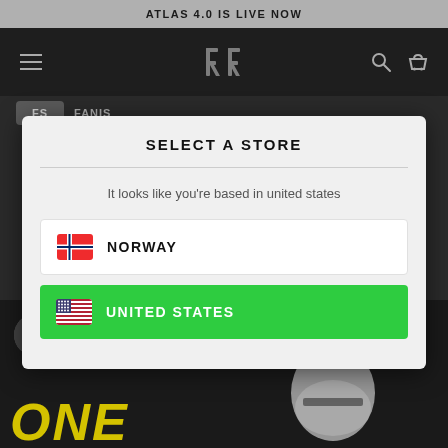ATLAS 4.0 IS LIVE NOW
[Figure (screenshot): Navigation bar with hamburger menu icon on left, stylized RR logo in center, search and basket icons on right, dark background]
FS   FANIS
SELECT A STORE
It looks like you're based in united states
NORWAY
UNITED STATES
[Figure (screenshot): Video thumbnail showing avatar, title 'NEW Ruroc Atlas 4.0 Review After ...' with three-dot menu, and large yellow italic text 'ONE' at bottom with motorcycle helmet silhouette]